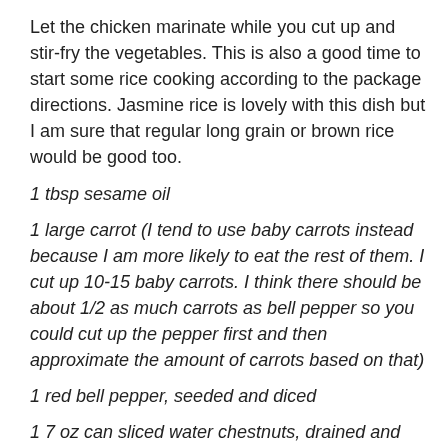Let the chicken marinate while you cut up and stir-fry the vegetables. This is also a good time to start some rice cooking according to the package directions. Jasmine rice is lovely with this dish but I am sure that regular long grain or brown rice would be good too.
1 tbsp sesame oil
1 large carrot (I tend to use baby carrots instead because I am more likely to eat the rest of them. I cut up 10-15 baby carrots. I think there should be about 1/2 as much carrots as bell pepper so you could cut up the pepper first and then approximate the amount of carrots based on that)
1 red bell pepper, seeded and diced
1 7 oz can sliced water chestnuts, drained and coarsely chopped